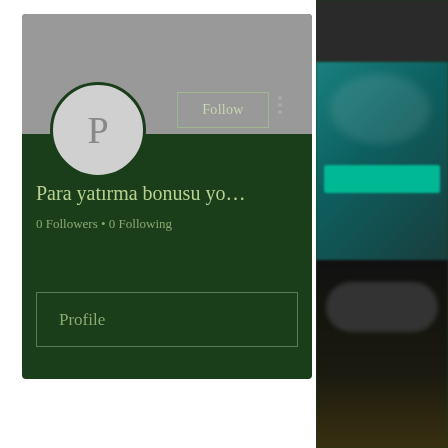[Figure (screenshot): Social media profile card on dark green background. Shows avatar circle with letter P, Follow button, three-dot menu, profile name 'Para yatırma bonusu yo...', '0 Followers • 0 Following', and a Profile tab at the bottom. Right side shows a blurred second screen with teal/dark background.]